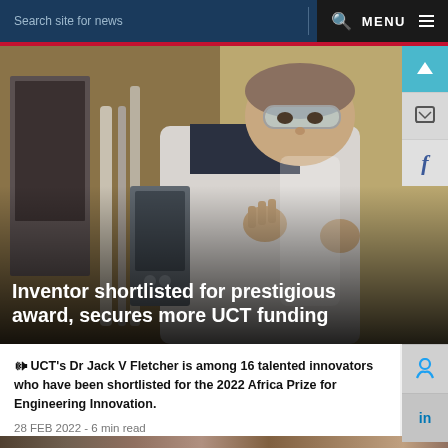Search site for news  🔍  MENU
[Figure (photo): A researcher in a white lab coat and safety goggles working with laboratory equipment, viewed from a slight angle. The image has a dark gradient overlay at the bottom.]
Inventor shortlisted for prestigious award, secures more UCT funding
🔊 UCT's Dr Jack V Fletcher is among 16 talented innovators who have been shortlisted for the 2022 Africa Prize for Engineering Innovation.
28 FEB 2022 - 6 min read